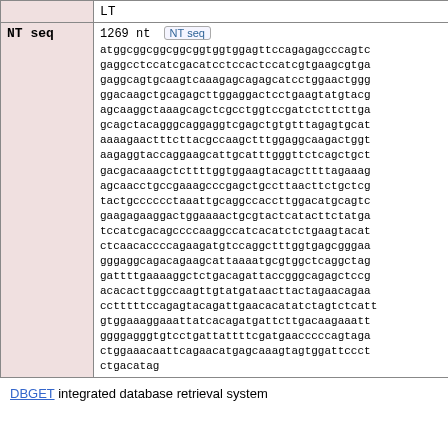|  | LT / NT seq |
| --- | --- |
|  | LT |
| NT seq | 1269 nt [NT seq button] atggcggcggcggcggtggtggagttccagagagcccagtc gaggcctccatcgacatcctccactccatcgtgaagcgtga gaggcagtgcaagtcaaagagcagagcatcctggaactggg ggacaagctgcagagcttggaggactcctgaagtatgtacg agcaaggctaaagcagctcgcctggtccgatctcttcttga gcagctacagggcaggaggtcgagctgtgtttagagtgcat aaaagaactttcttacgccaagctttggaggcaagactggt aagaggtaccaggaagcattgcatttgggttctcagctgct gacgacaaagctcttttggtggaagtacagcttttagaaag agcaacctgccgaaagcccgagctgccttaacttctgctcg tactgcccccctaaattgcaggccaccttggacatgcagtc gaagagaaggactggaaaactgcgtactcatacttctatga tccatcgacagccccaaggccatcacatctctgaagtacat ctcaacaccccagaagatgtccaggctttggtgagcgggaa gggaggcagacagaagcattaaaatgcgtggctcaggctag gattttgaaaaggctctgacagattaccgggcagagctccg acacacttggccaagttgtatgataacttactagaacagaa cctttttccagagtacagattgaacacatatctagtctcatt gtggaaaggaaattatcacagatgattcttgacaagaaatt ggggagggtgtcctgattattttcgatgaacccccagtaga ctggaaacaattcagaacatgagcaaagtagtggattccct ctgacatag |
DBGET integrated database retrieval system